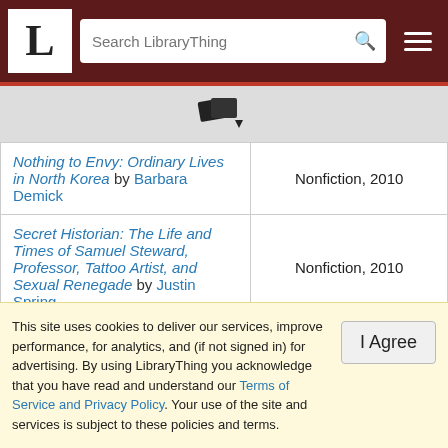LibraryThing – Search LibraryThing
[Figure (icon): Stack of books with dropdown arrow icon]
| Book | Genre, Year |
| --- | --- |
| Nothing to Envy: Ordinary Lives in North Korea by Barbara Demick | Nonfiction, 2010 |
| Secret Historian: The Life and Times of Samuel Steward, Professor, Tattoo Artist, and Sexual Renegade by Justin Spring | Nonfiction, 2010 |
| By the Numbers (Lannan… |  |
This site uses cookies to deliver our services, improve performance, for analytics, and (if not signed in) for advertising. By using LibraryThing you acknowledge that you have read and understand our Terms of Service and Privacy Policy. Your use of the site and services is subject to these policies and terms.